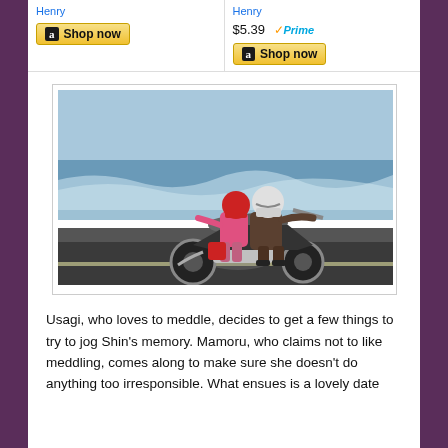[Figure (other): Amazon product listing ad strip with two items, both by 'Henry', one showing price $5.39 with Prime badge, both with 'Shop now' buttons]
[Figure (photo): Two people riding a motorcycle along a coastal road near the ocean. The passenger in front wears a red helmet and pink jacket; the rider behind wears a white helmet and dark jacket. The ocean with waves is visible in the background.]
Usagi, who loves to meddle, decides to get a few things to try to jog Shin's memory. Mamoru, who claims not to like meddling, comes along to make sure she doesn't do anything too irresponsible. What ensues is a lovely date